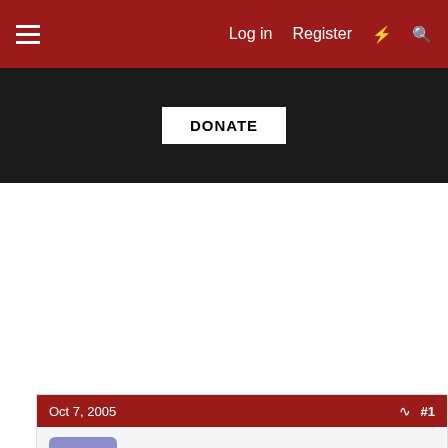Log in   Register
[Figure (other): Dark banner with DONATE button]
Oct 7, 2005   #1
Frank K.
Active member
Hi,

some days ago I bought a pair of Aerius i on ebay.com for my friend who has
this dream since a long time. The speakers are the US version - 120 V.
Does anyone know how to convert the voltage to 230 V without paying for
original boards from ML. I'm not shure whether there is the 50/60 Hz problem